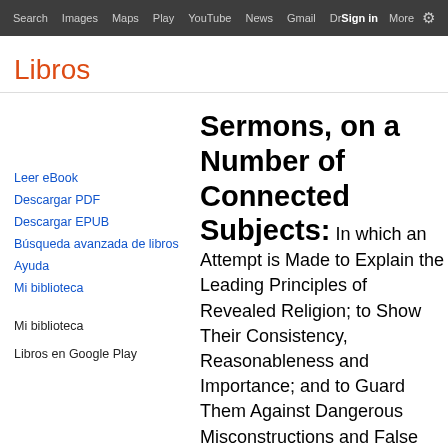Search  Images  Maps  Play  YouTube  News  Gmail  Drive  More  Sign in  (gear)
Libros
Leer eBook
Descargar PDF
Descargar EPUB
Búsqueda avanzada de libros
Ayuda
Mi biblioteca
Mi biblioteca
Libros en Google Play
Sermons, on a Number of Connected Subjects: In which an Attempt is Made to Explain the Leading Principles of Revealed Religion; to Show Their Consistency, Reasonableness and Importance; and to Guard Them Against Dangerous Misconstructions and False Inferences, and Against the Specious